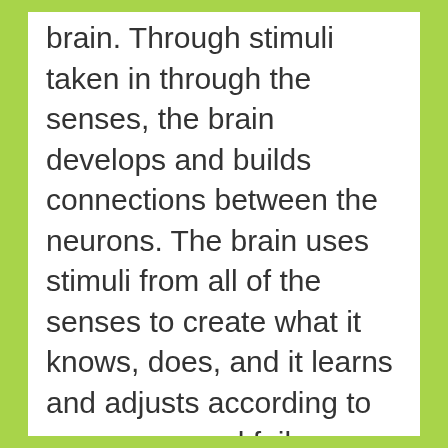brain. Through stimuli taken in through the senses, the brain develops and builds connections between the neurons. The brain uses stimuli from all of the senses to create what it knows, does, and it learns and adjusts according to successes and failures. The brain is very adaptive. The brain begins to control the body, learn, remember and recall.
We learned five senses in school, but not proprioception, which helps us